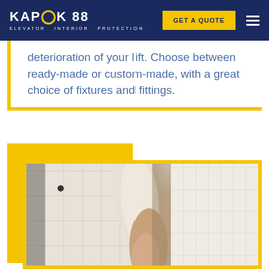KAPOK 88 ELEVATOR INTERIOR PROTECTION — GET A QUOTE
deterioration of your lift. Choose between ready-made or custom-made, with a great choice of fixtures and fittings.
[Figure (photo): Photo of quilted white elevator protection pads being handled, showing texture and construction with a grommet/snap fixture visible, person's hand holding the padding material]